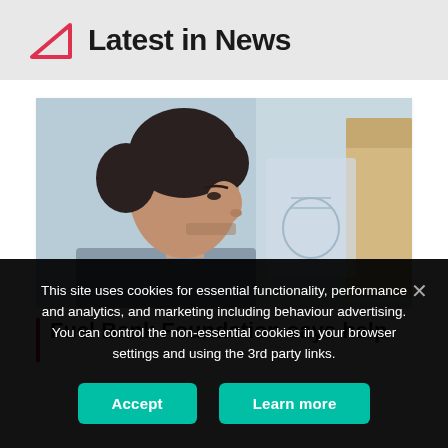Latest in News
[Figure (photo): A man in profile view looking closely at what appears to be an X-ray or medical image being held up]
Fuel Bank Foundation says help
This site uses cookies for essential functionality, performance and analytics, and marketing including behaviour advertising. You can control the non-essential cookies in your browser settings and using the 3rd party links.